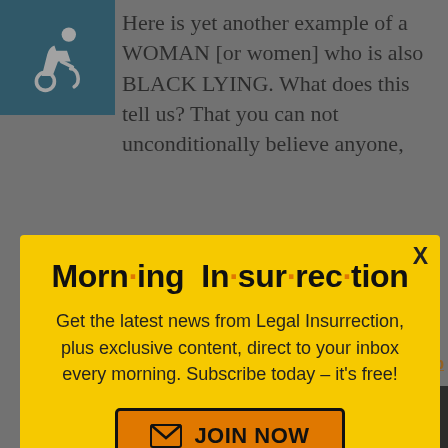Here is yet another example of a WOMAN [or women] who is also BLACK LYING. What does this tell us? That you can not unconditionally believe anyone,
[Figure (screenshot): Morning Insurrection newsletter subscription modal popup with yellow background, bold title 'Morn·ing In·sur·rec·tion', subscription pitch text, and orange JOIN NOW button]
fake until the supposed victim proves it to be true.
[Figure (logo): Fiverr advertisement bar with white Fiverr logo on black background and green Start Now button]